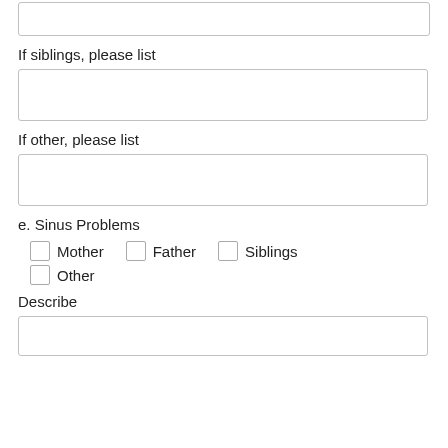If siblings, please list
If other, please list
e. Sinus Problems
Mother
Father
Siblings
Other
Describe